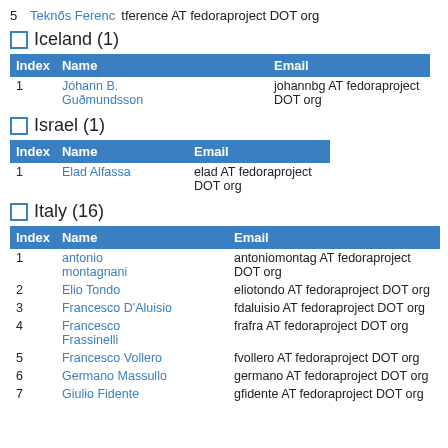5   Teknős Ferenc   tference AT fedoraproject DOT org
Iceland (1)
| Index | Name | Email |
| --- | --- | --- |
| 1 | Jóhann B. Guðmundsson | johannbg AT fedoraproject DOT org |
Israel (1)
| Index | Name | Email |
| --- | --- | --- |
| 1 | Elad Alfassa | elad AT fedoraproject DOT org |
Italy (16)
| Index | Name | Email |
| --- | --- | --- |
| 1 | antonio montagnani | antoniomontag AT fedoraproject DOT org |
| 2 | Elio Tondo | eliotondo AT fedoraproject DOT org |
| 3 | Francesco D'Aluisio | fdaluisio AT fedoraproject DOT org |
| 4 | Francesco Frassinelli | frafra AT fedoraproject DOT org |
| 5 | Francesco Vollero | fvollero AT fedoraproject DOT org |
| 6 | Germano Massullo | germano AT fedoraproject DOT org |
| 7 | Giulio Fidente | gfidente AT fedoraproject DOT org |